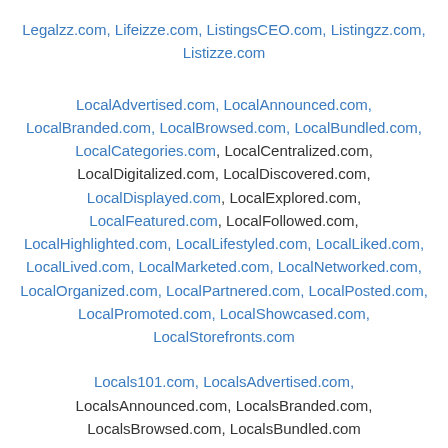Legalzz.com, Lifeizze.com, ListingsCEO.com, Listingzz.com, Listizze.com
LocalAdvertised.com, LocalAnnounced.com, LocalBranded.com, LocalBrowsed.com, LocalBundled.com, LocalCategories.com, LocalCentralized.com, LocalDigitalized.com, LocalDiscovered.com, LocalDisplayed.com, LocalExplored.com, LocalFeatured.com, LocalFollowed.com, LocalHighlighted.com, LocalLifestyled.com, LocalLiked.com, LocalLived.com, LocalMarketed.com, LocalNetworked.com, LocalOrganized.com, LocalPartnered.com, LocalPosted.com, LocalPromoted.com, LocalShowcased.com, LocalStorefronts.com
Locals101.com, LocalsAdvertised.com, LocalsAnnounced.com, LocalsBranded.com, LocalsBrowsed.com, LocalsBundled.com